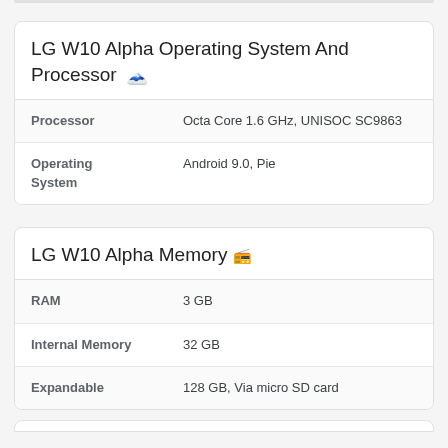LG W10 Alpha Operating System And Processor 🖥
|  |  |
| --- | --- |
| Processor | Octa Core 1.6 GHz, UNISOC SC9863 |
| Operating System | Android 9.0, Pie |
LG W10 Alpha Memory 🖲
|  |  |
| --- | --- |
| RAM | 3 GB |
| Internal Memory | 32 GB |
| Expandable | 128 GB, Via micro SD card |